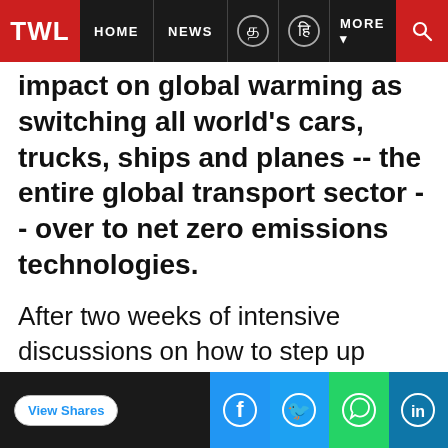TWL | HOME | NEWS | MORE
impact on global warming as switching all world's cars, trucks, ships and planes -- the entire global transport sector -- over to net zero emissions technologies.
After two weeks of intensive discussions on how to step up international efforts to tackle global warming, the UN Climate Change Conference (COP26) in Glasgow concluded on Saturday night.
The IEA has played an active role